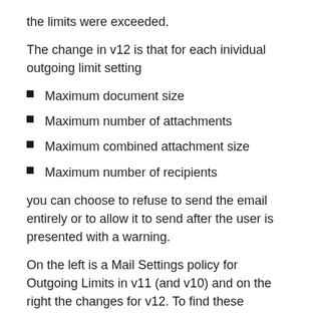the limits were exceeded.
The change in v12 is that for each inividual outgoing limit setting
Maximum document size
Maximum number of attachments
Maximum combined attachment size
Maximum number of recipients
you can choose to refuse to send the email entirely or to allow it to send after the user is presented with a warning.
On the left is a Mail Settings policy for Outgoing Limits in v11 (and v10) and on the right the changes for v12. To find these options go to the “Mail” then “Basics” tab on your mail settings for a policy. Since this is controlled through a policy you can easily create different settings for different